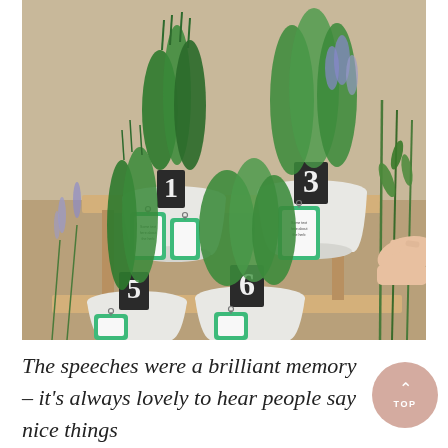[Figure (photo): Photo of several white metal pots with herb plants (rosemary, thyme, mint, etc.) displayed on a wooden tiered stand. Each pot has a chalkboard number sign (1, 3, 5, 6) and a green gift tag hanging from it. A person's hand is visible on the right reaching toward one of the plants.]
The speeches were a brilliant memory – it's always lovely to hear people say nice things